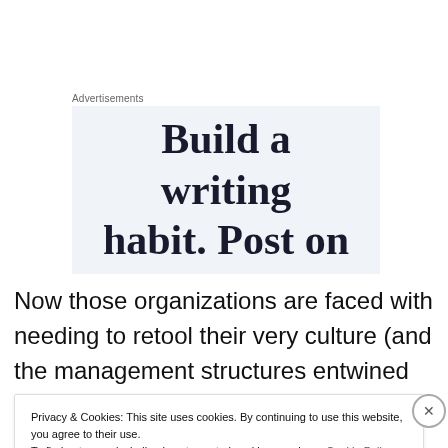Advertisements
[Figure (screenshot): Advertisement banner with text 'Build a writing habit. Post on' on a light blue-gray background]
Now those organizations are faced with needing to retool their very culture (and the management structures entwined within it) to place some amount of value on
Privacy & Cookies: This site uses cookies. By continuing to use this website, you agree to their use. To find out more, including how to control cookies, see here: Cookie Policy
Close and accept